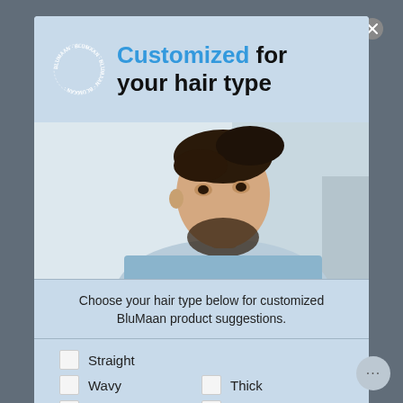Customized for your hair type
[Figure (photo): Young man with styled brown hair looking sideways, wearing a light blue shirt, blurred background]
Choose your hair type below for customized BluMaan product suggestions.
Straight
Wavy
Curly
Thick
Thin